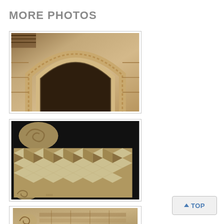MORE PHOTOS
[Figure (photo): Close-up of a Romanesque stone archway with carved decorative moldings and a wooden door, sandy limestone tones]
[Figure (photo): Close-up of a carved stone capital with geometric diamond/cube relief pattern and spiral volutes, against dark background]
[Figure (photo): Partial view of carved stone architectural detail with scrollwork, bottom of page]